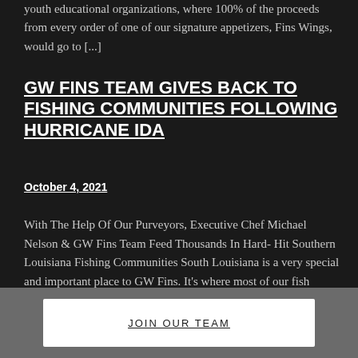youth educational organizations, where 100% of the proceeds from every order of one of our signature appetizers, Fins Wings, would go to [...]
GW FINS TEAM GIVES BACK TO FISHING COMMUNITIES FOLLOWING HURRICANE IDA
October 4, 2021
With The Help Of Our Purveyors, Executive Chef Michael Nelson & GW Fins Team Feed Thousands In Hard- Hit Southern Louisiana Fishing Communities South Louisiana is a very special and important place to GW Fins. It's where most of our fish comes from and where a lot of our purveyors live. Having already started their communities a…
JOIN OUR TEAM